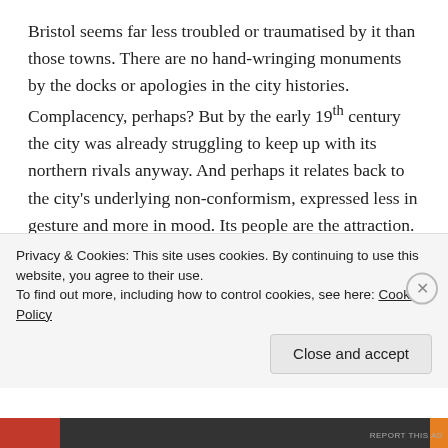Bristol seems far less troubled or traumatised by it than those towns. There are no hand-wringing monuments by the docks or apologies in the city histories. Complacency, perhaps? But by the early 19th century the city was already struggling to keep up with its northern rivals anyway. And perhaps it relates back to the city's underlying non-conformism, expressed less in gesture and more in mood. Its people are the attraction.
John Wesley established his first chapel here in this city. The ideas that would later become Methodism, with the ideas...
Privacy & Cookies: This site uses cookies. By continuing to use this website, you agree to their use.
To find out more, including how to control cookies, see here: Cookie Policy